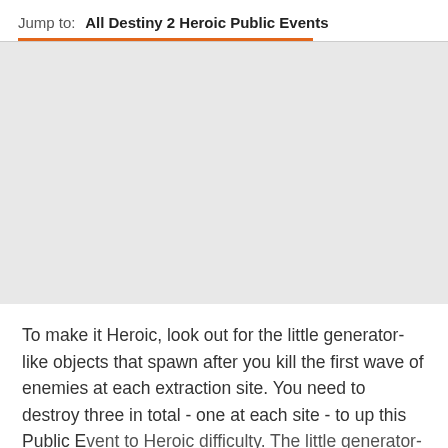Jump to:  All Destiny 2 Heroic Public Events
[Figure (other): Gray placeholder/advertisement area]
To make it Heroic, look out for the little generator-like objects that spawn after you kill the first wave of enemies at each extraction site. You need to destroy three in total - one at each site - to up this Public Event to Heroic difficulty. The little generators are...